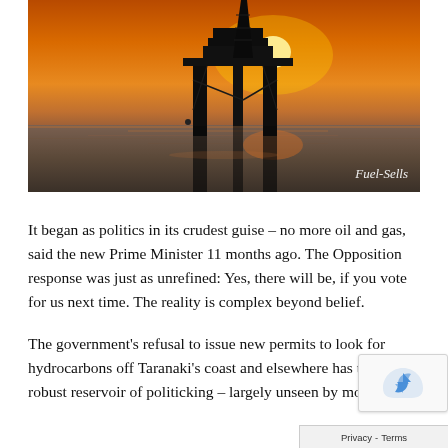[Figure (photo): Silhouette of an offshore oil drilling rig against an orange sunset sky reflected on calm water. Photo credit reads 'Fuel-Sells' in bottom right corner.]
It began as politics in its crudest guise – no more oil and gas, said the new Prime Minister 11 months ago. The Opposition response was just as unrefined: Yes, there will be, if you vote for us next time. The reality is complex beyond belief.
The government's refusal to issue new permits to look for hydrocarbons off Taranaki's coast and elsewhere has tapped a robust reservoir of politicking – largely unseen by most pe...